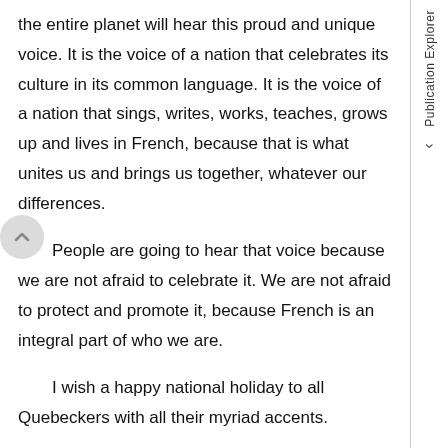the entire planet will hear this proud and unique voice. It is the voice of a nation that celebrates its culture in its common language. It is the voice of a nation that sings, writes, works, teaches, grows up and lives in French, because that is what unites us and brings us together, whatever our differences.
People are going to hear that voice because we are not afraid to celebrate it. We are not afraid to protect and promote it, because French is an integral part of who we are.
I wish a happy national holiday to all Quebeckers with all their myriad accents.